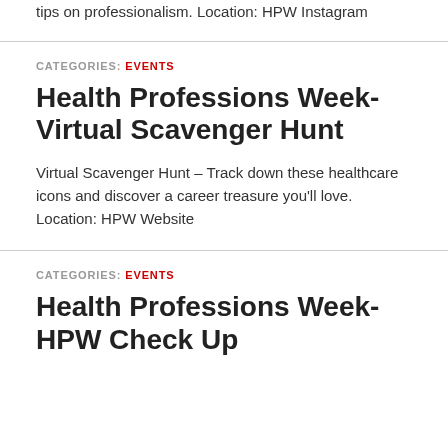tips on professionalism. Location: HPW Instagram
CATEGORIES: EVENTS
Health Professions Week-Virtual Scavenger Hunt
Virtual Scavenger Hunt – Track down these healthcare icons and discover a career treasure you'll love. Location: HPW Website
CATEGORIES: EVENTS
Health Professions Week-HPW Check Up...